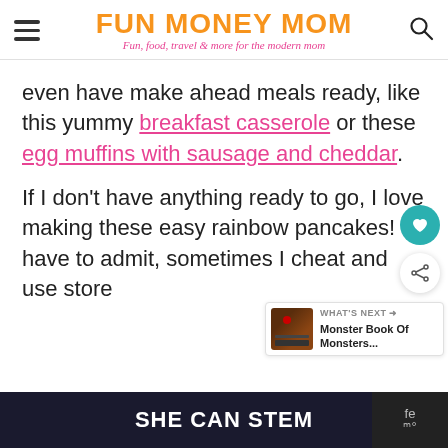FUN MONEY MOM — Fun, food, travel & more for the modern mom
even have make ahead meals ready, like this yummy breakfast casserole or these egg muffins with sausage and cheddar.
If I don't have anything ready to go, I love making these easy rainbow pancakes! I have to admit, sometimes I cheat and use store
SHE CAN STEM